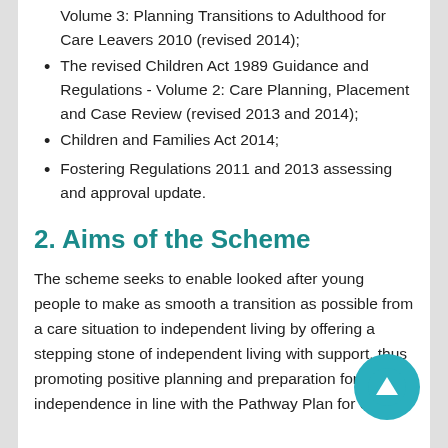Volume 3: Planning Transitions to Adulthood for Care Leavers 2010 (revised 2014);
The revised Children Act 1989 Guidance and Regulations - Volume 2: Care Planning, Placement and Case Review (revised 2013 and 2014);
Children and Families Act 2014;
Fostering Regulations 2011 and 2013 assessing and approval update.
2. Aims of the Scheme
The scheme seeks to enable looked after young people to make as smooth a transition as possible from a care situation to independent living by offering a stepping stone of independent living with support, thus promoting positive planning and preparation for independence in line with the Pathway Plan for each